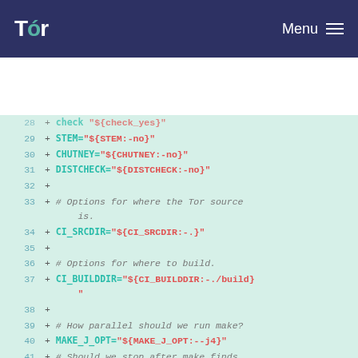Tor  Menu
[Figure (screenshot): Code diff screenshot showing shell script lines 28-44 with additions (+ prefix) on a mint-green background. Lines include variable assignments for STEM, CHUTNEY, DISTCHECK, CI_SRCDIR, CI_BUILDDIR, MAKE_J_OPT, MAKE_K_OPT and comments.]